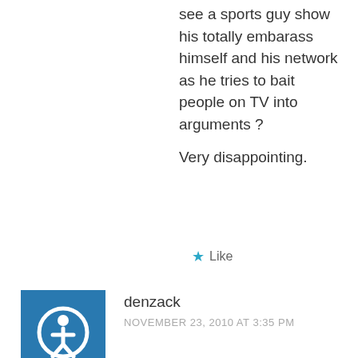see a sports guy show his totally embarass himself and his network as he tries to bait people on TV into arguments ?
Very disappointing.
Like
denzack
NOVEMBER 23, 2010 AT 3:35 PM
Too bad. Callahan is a smart, humorous guy. Unfortunately, his humor is malicious. At least Dennis is an equal opportunity satirist. But poor Callahan (text continues below visible area)